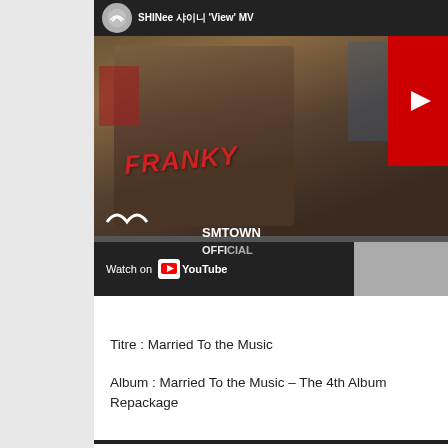[Figure (screenshot): YouTube video thumbnail for SHINee 'View' MV by SMTOWN OFFICIAL channel, showing a person in a tank top with 'FRANKY' text, SMTOWN OFFICIAL watermark, and a Watch on YouTube bar at the bottom]
Titre : Married To the Music
Album : Married To the Music – The 4th Album Repackage